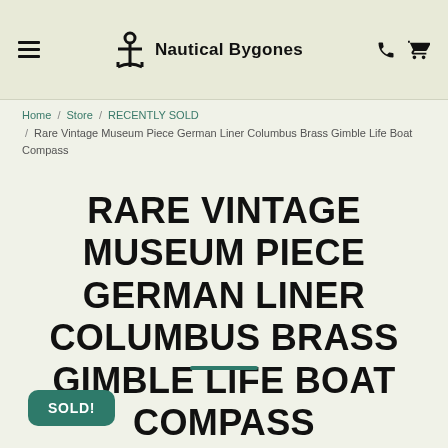Nautical Bygones
Home / Store / RECENTLY SOLD / Rare Vintage Museum Piece German Liner Columbus Brass Gimble Life Boat Compass
RARE VINTAGE MUSEUM PIECE GERMAN LINER COLUMBUS BRASS GIMBLE LIFE BOAT COMPASS
SOLD!